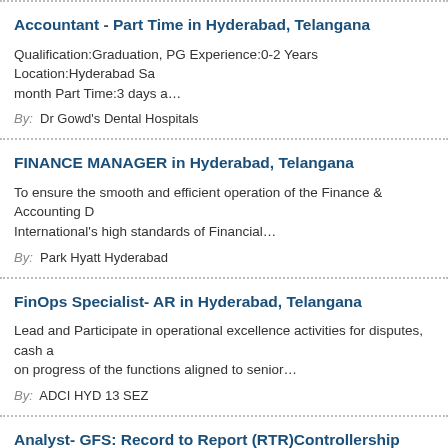Accountant - Part Time in Hyderabad, Telangana
Qualification:Graduation, PG Experience:0-2 Years Location:Hyderabad Sa month Part Time:3 days a…
By: Dr Gowd's Dental Hospitals
FINANCE MANAGER in Hyderabad, Telangana
To ensure the smooth and efficient operation of the Finance & Accounting D International's high standards of Financial…
By: Park Hyatt Hyderabad
FinOps Specialist- AR in Hyderabad, Telangana
Lead and Participate in operational excellence activities for disputes, cash a on progress of the functions aligned to senior…
By: ADCI HYD 13 SEZ
Analyst- GFS: Record to Report (RTR)Controllership Services in